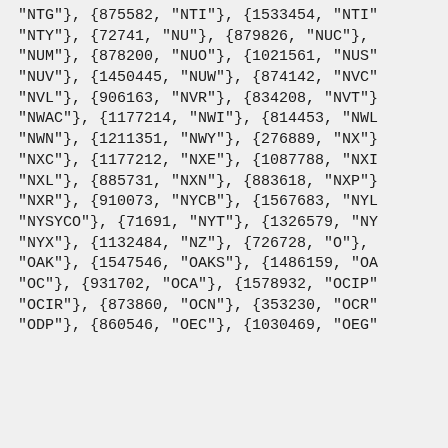"NTG"}, {875582, "NTI"}, {1533454, "NTI"
"NTY"}, {72741, "NU"}, {879826, "NUC"},
"NUM"}, {878200, "NUO"}, {1021561, "NUS"
"NUV"}, {1450445, "NUW"}, {874142, "NVC"
"NVL"}, {906163, "NVR"}, {834208, "NVT"}
"NWAC"}, {1177214, "NWI"}, {814453, "NWL
"NWN"}, {1211351, "NWY"}, {276889, "NX"}
"NXC"}, {1177212, "NXE"}, {1087788, "NXI
"NXL"}, {885731, "NXN"}, {883618, "NXP"}
"NXR"}, {910073, "NYCB"}, {1567683, "NYL
"NYSYCO"}, {71691, "NYT"}, {1326579, "NY
"NYX"}, {1132484, "NZ"}, {726728, "O"},
"OAK"}, {1547546, "OAKS"}, {1486159, "OA
"OC"}, {931702, "OCA"}, {1578932, "OCIP"
"OCIR"}, {873860, "OCN"}, {353230, "OCR"
"ODP"}, {860546, "OEC"}, {1030469, "OEG"